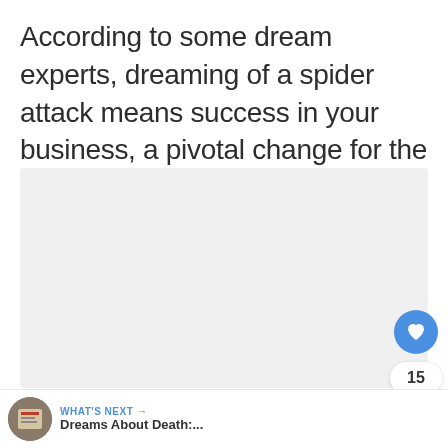According to some dream experts, dreaming of a spider attack means success in your business, a pivotal change for the betterment.
[Figure (other): A large light gray placeholder/advertisement area embedded in the article page, with interactive UI elements: a blue heart/like button showing count 15, and a share button on the right side.]
WHAT'S NEXT → Dreams About Death:...